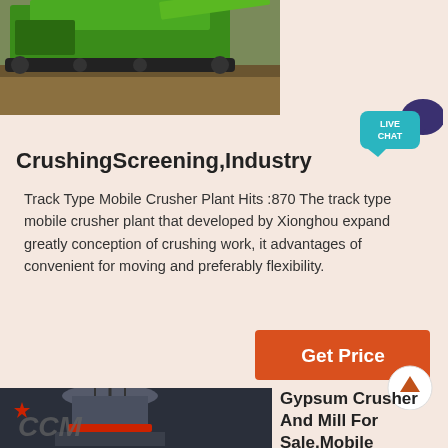[Figure (photo): Green track-type mobile crusher plant on dirt ground, viewed from the side]
CrushingScreening,Industry
Track Type Mobile Crusher Plant Hits :870 The track type mobile crusher plant that developed by Xionghou expand greatly conception of crushing work, it advantages of convenient for moving and preferably flexibility.
[Figure (other): Live Chat badge with teal speech bubble and dark purple chat icon]
[Figure (other): Orange Get Price button with scroll-up circle arrow]
[Figure (photo): Industrial crusher machine (cone crusher) in gray and red, with CCM logo overlay]
Gypsum Crusher And Mill For Sale,Mobile Limestone Crusher
Ultrafine Powder